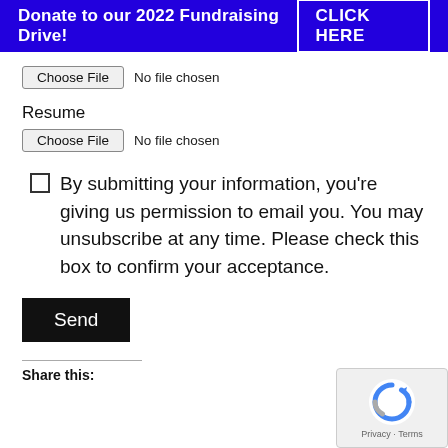Donate to our 2022 Fundraising Drive!   CLICK HERE
[Figure (screenshot): File input button showing 'Choose File' and 'No file chosen' text]
Resume
[Figure (screenshot): File input button showing 'Choose File' and 'No file chosen' text]
By submitting your information, you're giving us permission to email you. You may unsubscribe at any time. Please check this box to confirm your acceptance.
Send
Share this:
[Figure (logo): reCAPTCHA widget with Privacy and Terms text]